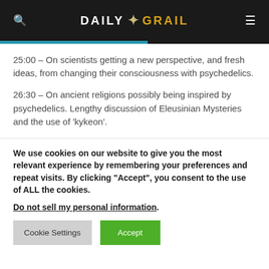DAILY GRAIL
25:00 – On scientists getting a new perspective, and fresh ideas, from changing their consciousness with psychedelics.
26:30 – On ancient religions possibly being inspired by psychedelics. Lengthy discussion of Eleusinian Mysteries and the use of 'kykeon'.
We use cookies on our website to give you the most relevant experience by remembering your preferences and repeat visits. By clicking "Accept", you consent to the use of ALL the cookies.
Do not sell my personal information.